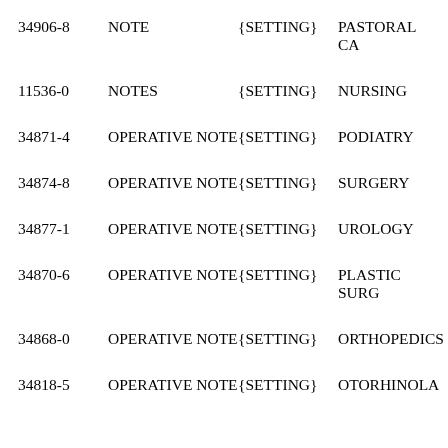34906-8  NOTE  {SETTING}  PASTORAL CA
11536-0  NOTES  {SETTING}  NURSING
34871-4  OPERATIVE NOTE  {SETTING}  PODIATRY
34874-8  OPERATIVE NOTE  {SETTING}  SURGERY
34877-1  OPERATIVE NOTE  {SETTING}  UROLOGY
34870-6  OPERATIVE NOTE  {SETTING}  PLASTIC SURG
34868-0  OPERATIVE NOTE  {SETTING}  ORTHOPEDICS
34818-5  OPERATIVE NOTE  {SETTING}  OTORHINOLA